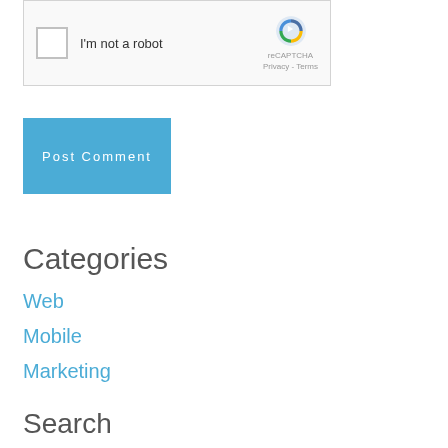[Figure (screenshot): reCAPTCHA widget with checkbox labeled 'I'm not a robot' and reCAPTCHA logo with Privacy and Terms text]
Post Comment
Categories
Web
Mobile
Marketing
Search